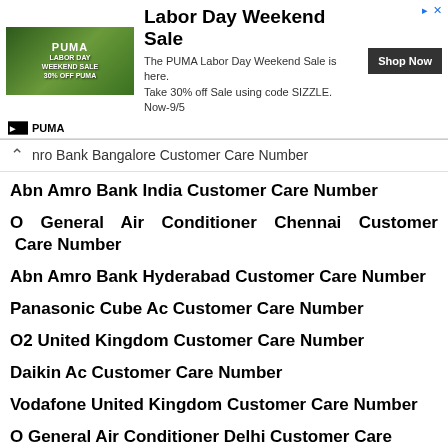[Figure (illustration): PUMA Labor Day Weekend Sale advertisement banner with athlete image and 'Shop Now' button]
nro Bank Bangalore Customer Care Number
Abn Amro Bank India Customer Care Number
O General Air Conditioner Chennai Customer Care Number
Abn Amro Bank Hyderabad Customer Care Number
Panasonic Cube Ac Customer Care Number
O2 United Kingdom Customer Care Number
Daikin Ac Customer Care Number
Vodafone United Kingdom Customer Care Number
O General Air Conditioner Delhi Customer Care Number
O General A...her Care Number
[Figure (illustration): Post Your Complaint button with pencil/notepad icon]